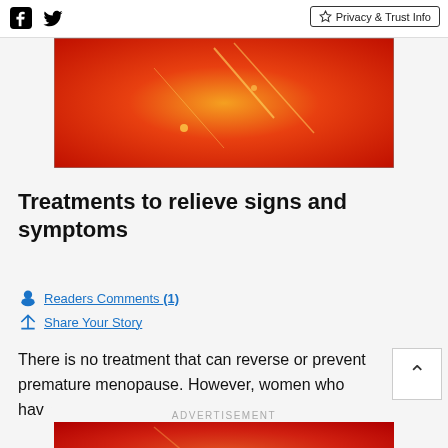Facebook Twitter Privacy & Trust Info
[Figure (photo): Orange and red gradient advertisement banner with light streaks]
Treatments to relieve signs and symptoms
Readers Comments (1)
Share Your Story
There is no treatment that can reverse or prevent premature menopause. However, women who have
ADVERTISEMENT
[Figure (photo): Red and orange gradient advertisement banner]